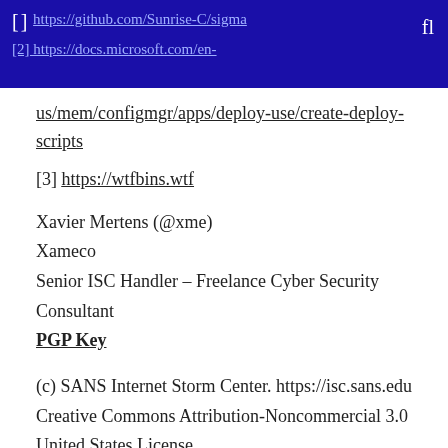[] https://github.com/Sunrise-C/sigma     [2] https://docs.microsoft.com/en-us/mem/configmgr/apps/deploy-use/create-deploy-scripts
us/mem/configmgr/apps/deploy-use/create-deploy-scripts
[3] https://wtfbins.wtf
Xavier Mertens (@xme)
Xameco
Senior ISC Handler – Freelance Cyber Security Consultant
PGP Key
(c) SANS Internet Storm Center. https://isc.sans.edu Creative Commons Attribution-Noncommercial 3.0 United States License.
Reposted from SANS. View original.